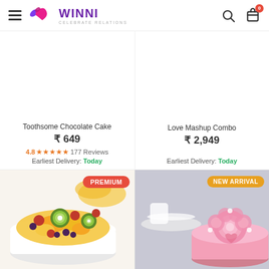WINNI - CELEBRATE RELATIONS
Toothsome Chocolate Cake
₹ 649
4.8★★★★★ 177 Reviews
Earliest Delivery: Today
Love Mashup Combo
₹ 2,949
Earliest Delivery: Today
[Figure (photo): Fruit cake with kiwi, mango, cherry toppings on white cream base. PREMIUM badge in red top-right corner.]
[Figure (photo): Pink floral rosette cake on grey background. NEW ARRIVAL badge in orange top-right corner.]